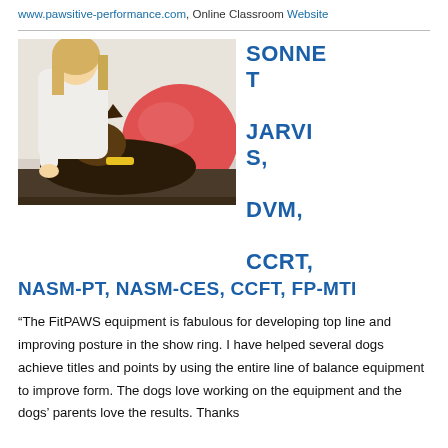www.pawsitive-performance.com, Online Classroom Website
[Figure (photo): Woman in white coat working with a German Shepherd dog, large red exercise ball in background]
SONNET JARVIS, DVM, CCRT, NASM-PT, NASM-CES, CCFT, FP-MTI
“The FitPAWS equipment is fabulous for developing top line and improving posture in the show ring. I have helped several dogs achieve titles and points by using the entire line of balance equipment to improve form. The dogs love working on the equipment and the dogs’ parents love the results. Thanks